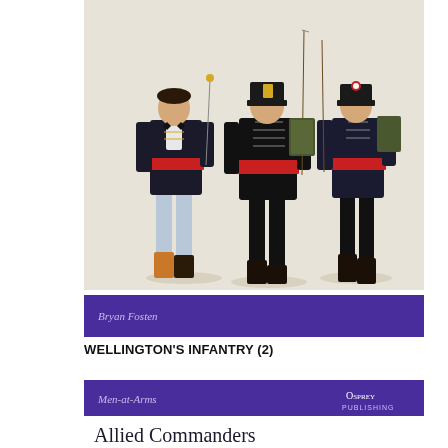[Figure (illustration): Three Napoleonic-era military figures in dark uniforms with red sashes, one holding a sword, one with a rifle and backpack, against a light background. Illustration from Osprey Men-at-Arms series.]
Bryan Fosten
WELLINGTON'S INFANTRY (2)
[Figure (illustration): Cover of Osprey Men-at-Arms book 'Allied Commanders of World War II' showing three Allied military commanders in WWII uniforms, one wearing a red beret, one an American helmet, one with a US Army uniform.]
Men-at-Arms
OSPREY PUBLISHING
Allied Commanders of World War II